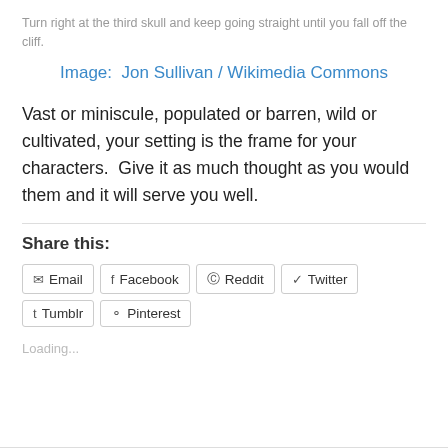Turn right at the third skull and keep going straight until you fall off the cliff.
Image:  Jon Sullivan / Wikimedia Commons
Vast or miniscule, populated or barren, wild or cultivated, your setting is the frame for your characters.  Give it as much thought as you would them and it will serve you well.
Share this:
Email  Facebook  Reddit  Twitter  Tumblr  Pinterest
Loading...